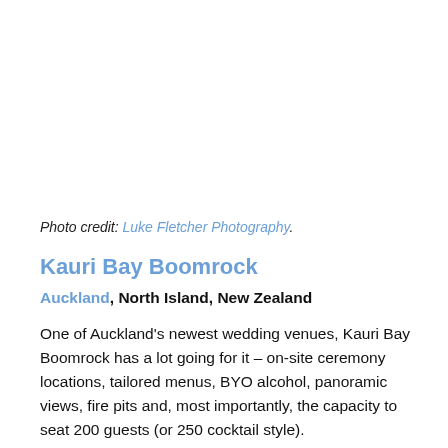Photo credit: Luke Fletcher Photography.
Kauri Bay Boomrock
Auckland, North Island, New Zealand
One of Auckland's newest wedding venues, Kauri Bay Boomrock has a lot going for it – on-site ceremony locations, tailored menus, BYO alcohol, panoramic views, fire pits and, most importantly, the capacity to seat 200 guests (or 250 cocktail style).